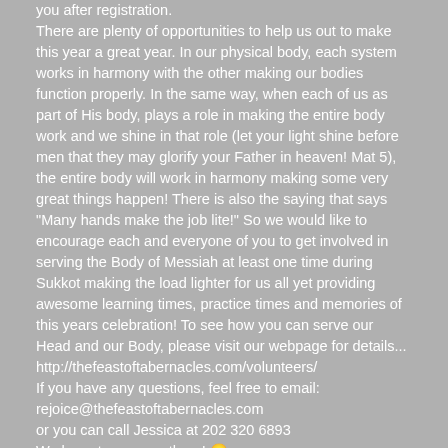you after registration.
There are plenty of opportunities to help us out to make this year a great year. In our physical body, each system works in harmony with the other making our bodies function properly. In the same way, when each of us as part of His body, plays a role in making the entire body work and we shine in that role (let your light shine before men that they may glorify your Father in heaven! Mat 5), the entire body will work in harmony making some very great things happen! There is also the saying that says "Many hands make the job lite!" So we would like to encourage each and everyone of you to get involved in serving the Body of Messiah at least one time during Sukkot making the load lighter for us all yet providing awesome learning times, practice times and memories of this years celebration! To see how you can serve our Head and our Body, please visit our webpage for details...
http://thefeastoftabernacles.com/volunteers/
If you have any questions, feel free to email:
rejoice@thefeastoftabernacles.com
or you can call Jessica at 202 320 6893
We hope to see you there! 🙂
Many Blessings in Y'hushun's Name!
Brother Mark Harris